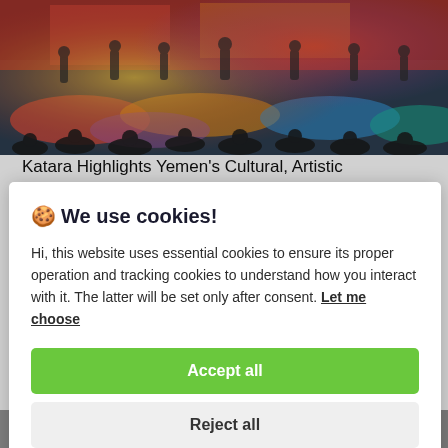[Figure (photo): Stage performance with colorful lighting and performers in traditional costumes, audience visible in foreground]
Katara Highlights Yemen's Cultural, Artistic
🍪 We use cookies!

Hi, this website uses essential cookies to ensure its proper operation and tracking cookies to understand how you interact with it. The latter will be set only after consent. Let me choose

[Accept all]
[Reject all]
[Figure (photo): Bottom strip of another photograph, partially visible]